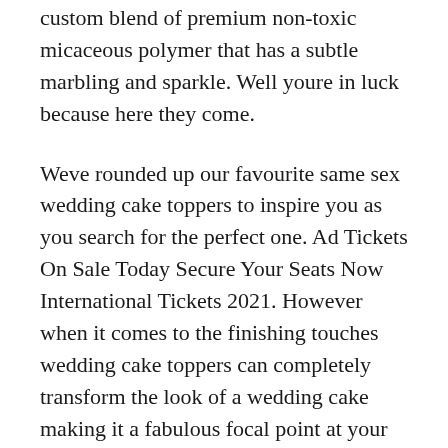custom blend of premium non-toxic micaceous polymer that has a subtle marbling and sparkle. Well youre in luck because here they come.
Weve rounded up our favourite same sex wedding cake toppers to inspire you as you search for the perfect one. Ad Tickets On Sale Today Secure Your Seats Now International Tickets 2021. However when it comes to the finishing touches wedding cake toppers can completely transform the look of a wedding cake making it a fabulous focal point at your wedding reception.
Whatever wedding cake you choose it will be unique to you as a couple. A wide range of ready made cake toppers including traditional brides